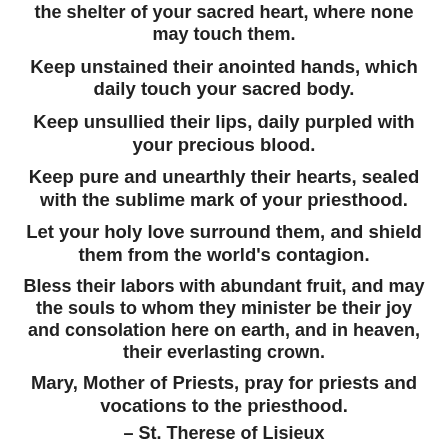the shelter of your sacred heart, where none may touch them.
Keep unstained their anointed hands, which daily touch your sacred body.
Keep unsullied their lips, daily purpled with your precious blood.
Keep pure and unearthly their hearts, sealed with the sublime mark of your priesthood.
Let your holy love surround them, and shield them from the world's contagion.
Bless their labors with abundant fruit, and may the souls to whom they minister be their joy and consolation here on earth, and in heaven, their everlasting crown.
Mary, Mother of Priests, pray for priests and vocations to the priesthood.
– St. Therese of Lisieux